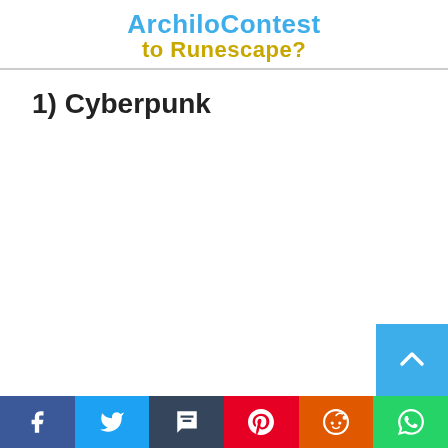ArchivoContest to Runescape?
1) Cyberpunk